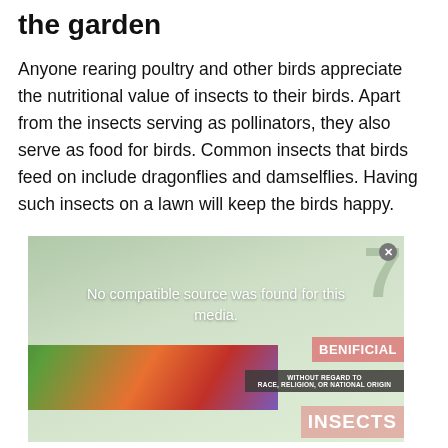the garden
Anyone rearing poultry and other birds appreciate the nutritional value of insects to their birds. Apart from the insects serving as pollinators, they also serve as food for birds. Common insects that birds feed on include dragonflies and damselflies. Having such insects on a lawn will keep the birds happy.
[Figure (screenshot): A media player placeholder showing 'No compatible source was found for this media.' overlaid on a light green background, with partial advertisement imagery showing dragonfly/insect graphics and text labels 'BENIFICIAL', 'WITHOUT REGARD TO RACE, RELIGION, OR NATIONAL ORIGIN', and 'INSECTS']